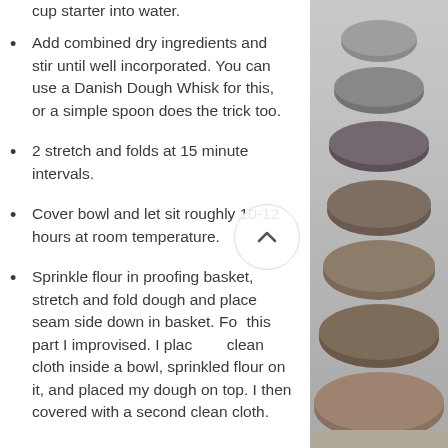cup starter into water.
Add combined dry ingredients and stir until well incorporated. You can use a Danish Dough Whisk for this, or a simple spoon does the trick too.
2 stretch and folds at 15 minute intervals.
Cover bowl and let sit roughly 10-12 hours at room temperature.
Sprinkle flour in proofing basket, stretch and fold dough and place seam side down in basket. For this part I improvised. I placed a clean cloth inside a bowl, sprinkled flour on it, and placed my dough on top. I then covered with a second clean cloth.
[Figure (photo): Stacked smooth stones/pebbles balanced on top of each other, photographed outdoors near water, grey and brown tones.]